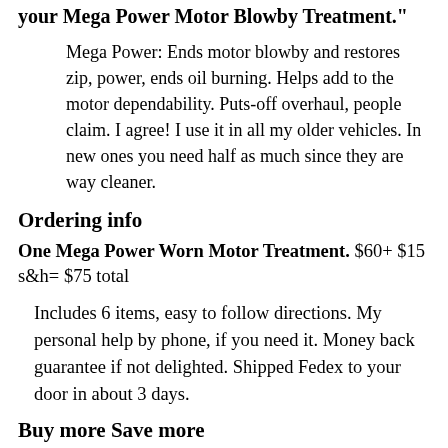your Mega Power Motor Blowby Treatment."
Mega Power: Ends motor blowby and restores zip, power, ends oil burning. Helps add to the motor dependability. Puts-off overhaul, people claim. I agree! I use it in all my older vehicles. In new ones you need half as much since they are way cleaner.
Ordering info
One Mega Power Worn Motor Treatment. $60+ $15 s&h= $75 total
Includes 6 items, easy to follow directions. My personal help by phone, if you need it. Money back guarantee if not delighted. Shipped Fedex to your door in about 3 days.
Buy more Save more
Two Mega Power Worn Motor Treatment =